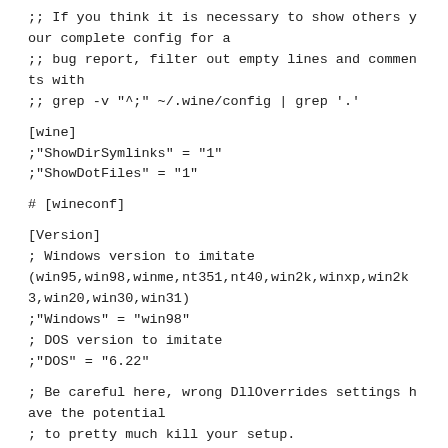;; If you think it is necessary to show others your complete config for a
;; bug report, filter out empty lines and comments with
;; grep -v "^;" ~/.wine/config | grep '.'
[wine]
;"ShowDirSymlinks" = "1"
;"ShowDotFiles" = "1"
# [wineconf]
[Version]
; Windows version to imitate
(win95,win98,winme,nt351,nt40,win2k,winxp,win2k3,win20,win30,win31)
;"Windows" = "win98"
; DOS version to imitate
;"DOS" = "6.22"
; Be careful here, wrong DllOverrides settings have the potential
; to pretty much kill your setup.
[DllOverrides]